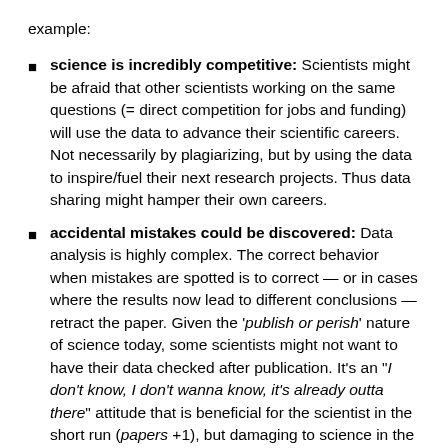example:
science is incredibly competitive: Scientists might be afraid that other scientists working on the same questions (= direct competition for jobs and funding) will use the data to advance their scientific careers. Not necessarily by plagiarizing, but by using the data to inspire/fuel their next research projects. Thus data sharing might hamper their own careers.
accidental mistakes could be discovered: Data analysis is highly complex. The correct behavior when mistakes are spotted is to correct — or in cases where the results now lead to different conclusions — retract the paper. Given the 'publish or perish' nature of science today, some scientists might not want to have their data checked after publication. It's an "I don't know, I don't wanna know, it's already outta there" attitude that is beneficial for the scientist in the short run (papers +1), but damaging to science in the long run, esp. for all those — including the original scientist — who base their work on faulty